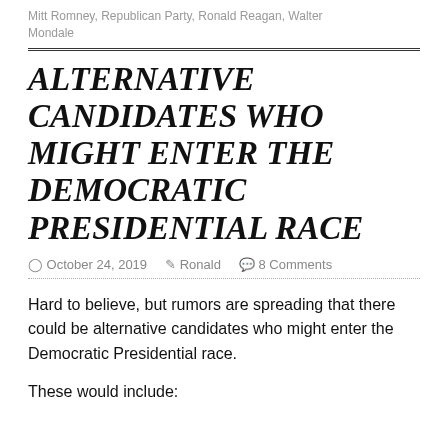Mitt Romney, Republican Party, Ronald Reagan, Walter Mondale
ALTERNATIVE CANDIDATES WHO MIGHT ENTER THE DEMOCRATIC PRESIDENTIAL RACE
October 24, 2019   Ronald   8 Comments
Hard to believe, but rumors are spreading that there could be alternative candidates who might enter the Democratic Presidential race.
These would include: